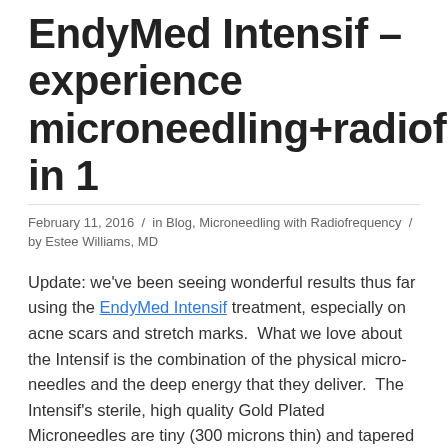EndyMed Intensif – experience microneedling+radiofrequency in 1
February 11, 2016 / in Blog, Microneedling with Radiofrequency / by Estee Williams, MD
Update: we've been seeing wonderful results thus far using the EndyMed Intensif treatment, especially on acne scars and stretch marks. What we love about the Intensif is the combination of the physical micro-needles and the deep energy that they deliver. The Intensif's sterile, high quality Gold Plated Microneedles are tiny (300 microns thin) and tapered to ensure a high level of efficacy and safety with minimal discomfort. The downtime is generally under 24 hours and most of our patients return to work the next day.